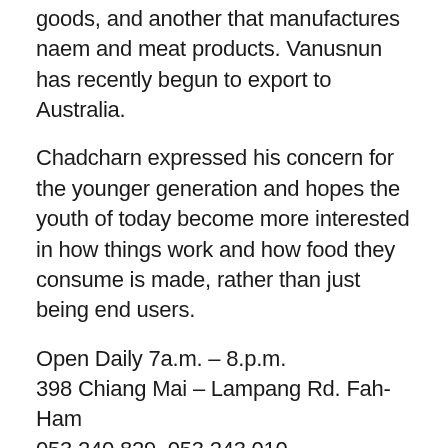goods, and another that manufactures naem and meat products. Vanusnun has recently begun to export to Australia.
Chadcharn expressed his concern for the younger generation and hopes the youth of today become more interested in how things work and how food they consume is made, rather than just being end users.
Open Daily 7a.m. – 8.p.m.
398 Chiang Mai – Lampang Rd. Fah-Ham
053 240 829, 053 243 010
www.vanusnun.com
info@vanusanun.com